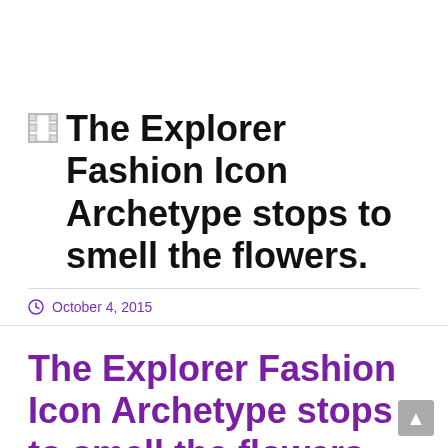The Explorer Fashion Icon Archetype stops to smell the flowers.
October 4, 2015
The Explorer Fashion Icon Archetype stops to smell the flowers.
On a recent trip to Ontario, Canada, I happened upon a lovely young creative